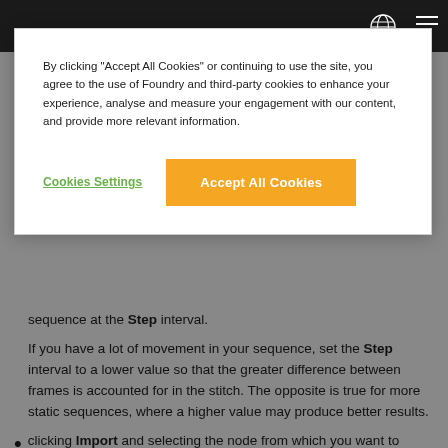[Figure (screenshot): Cookie consent modal overlay on a documentation website. Contains text about cookie usage, a 'Cookies Settings' link in green, and an 'Accept All Cookies' button in orange/yellow.]
sequence at the Step interval.
If you have a lot of movement in your sequence, set the Step interval to a lower value so that the greater difference between frames is accounted for in the stitch. The opposite is true for more static sequences, where a higher value may produce better results.
clicking Import and selecting the node from which you want to import keyframes. You can import keyframes from any instance of C_CameraServer, C_Stitcher, or